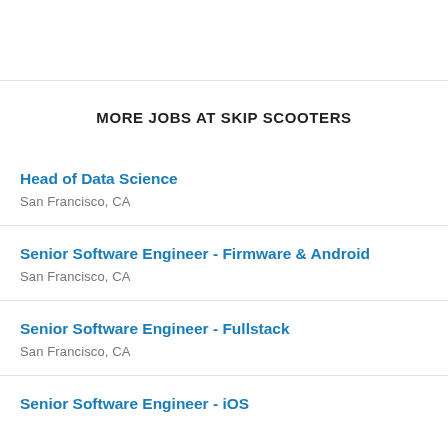MORE JOBS AT SKIP SCOOTERS
Head of Data Science
San Francisco, CA
Senior Software Engineer - Firmware & Android
San Francisco, CA
Senior Software Engineer - Fullstack
San Francisco, CA
Senior Software Engineer - iOS